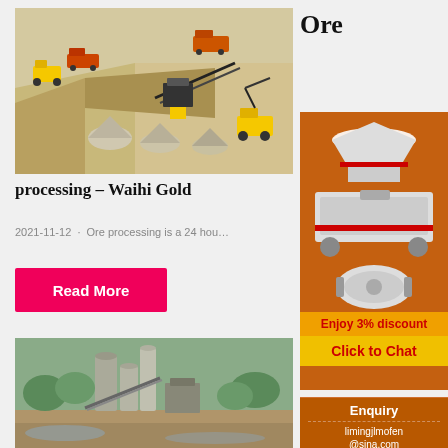Ore
[Figure (illustration): 3D isometric illustration of an open-pit mining site with yellow excavators, dump trucks, conveyors, and rock piles]
processing – Waihi Gold
2021-11-12 · Ore processing is a 24 hou…
Read More
[Figure (photo): Photo of an industrial mining processing facility with silos and equipment outdoors]
[Figure (illustration): Advertisement banner showing mining equipment machines on orange background with discount offer: Enjoy 3% discount, Click to Chat]
Enquiry
limingjlmofen@sina.com